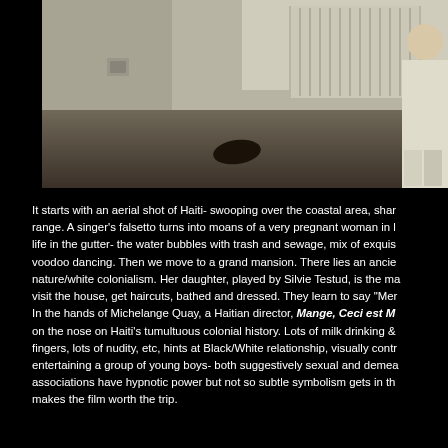[Figure (photo): A grayscale/muted film still showing a sparse room interior with a radiator along the wall, a dark object lying on the floor, and a person standing at the right edge wearing light-colored clothing]
It starts with an aerial shot of Haiti- swooping over the coastal area, shar range. A singer's falsetto turns into moans of a very pregnant woman in l life in the gutter- the water bubbles with trash and sewage, mix of exquis voodoo dancing. Then we move to a grand mansion. There lies an ancie nature/white colonialism. Her daughter, played by Silvie Testud, is the ma visit the house, get haircuts, bathed and dressed. They learn to say "Mer In the hands of Michelange Quay, a Haitian director, Mange, Ceci est M on the nose on Haiti's tumultuous colonial history. Lots of milk drinking & fingers, lots of nudity, etc, hints at Black/White relationship, visually contr entertaining a group of young boys- both suggestively sexual and demea associations have hypnotic power but not so subtle symbolism gets in th makes the film worth the trip.